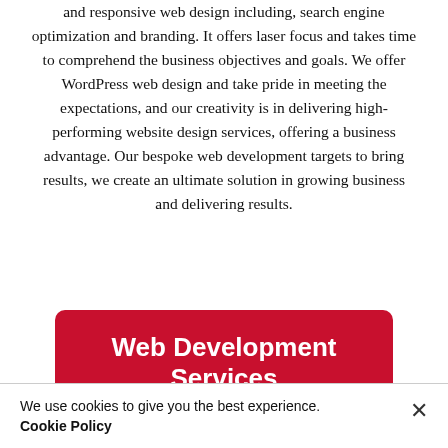and responsive web design including, search engine optimization and branding. It offers laser focus and takes time to comprehend the business objectives and goals. We offer WordPress web design and take pride in meeting the expectations, and our creativity is in delivering high-performing website design services, offering a business advantage. Our bespoke web development targets to bring results, we create an ultimate solution in growing business and delivering results.
Web Development Services
We use cookies to give you the best experience.
Cookie Policy